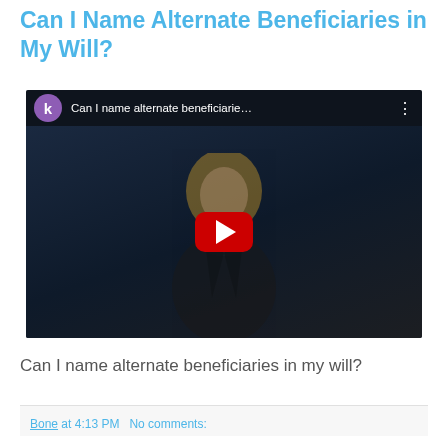Can I Name Alternate Beneficiaries in My Will?
[Figure (screenshot): YouTube video thumbnail showing a woman with blonde hair in front of a dark background. The video title reads 'Can I name alternate beneficiarie…' with a channel avatar showing the letter 'k' in purple. A red YouTube play button is centered on the video.]
Can I name alternate beneficiaries in my will?
Bone at 4:13 PM   No comments: